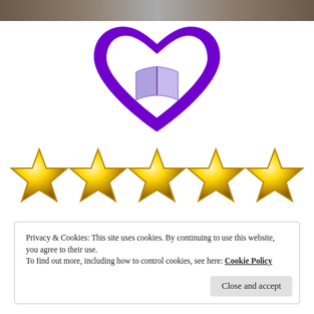[Figure (illustration): Top strip showing a dark/brownish image banner at top of page]
[Figure (logo): Purple heart logo with an open purple book inside it — a reading/book-lover logo]
[Figure (illustration): Five gold star rating icons in a row]
Privacy & Cookies: This site uses cookies. By continuing to use this website, you agree to their use.
To find out more, including how to control cookies, see here: Cookie Policy
Close and accept